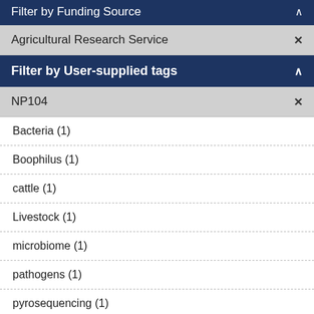Filter by Funding Source
Agricultural Research Service ×
Filter by User-supplied tags
NP104 ×
Bacteria (1)
Boophilus (1)
cattle (1)
Livestock (1)
microbiome (1)
pathogens (1)
pyrosequencing (1)
R. microplus (1)
Rhipicephalus microplus (1)